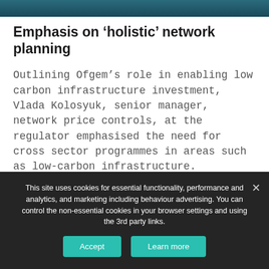[Figure (photo): Dark teal/blue banner image at top of page, appears to be a water or network-related photograph]
Emphasis on ‘holistic’ network planning
Outlining Ofgem’s role in enabling low carbon infrastructure investment, Vlada Kolosyuk, senior manager, network price controls, at the regulator emphasised the need for cross sector programmes in areas such as low-carbon infrastructure.
This site uses cookies for essential functionality, performance and analytics, and marketing including behaviour advertising. You can control the non-essential cookies in your browser settings and using the 3rd party links.